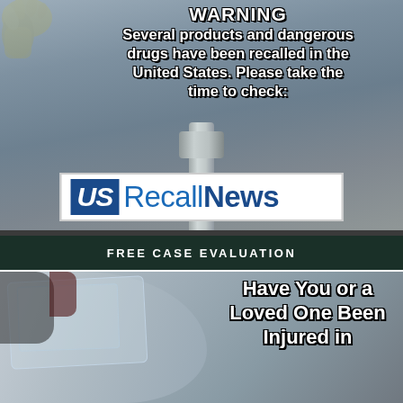[Figure (photo): Industrial/pharmaceutical background with yellow glove visible in top-left corner, blurred machinery. Overlaid warning text and US Recall News logo on white background.]
WARNING
Several products and dangerous drugs have been recalled in the United States. Please take the time to check:
[Figure (logo): US Recall News logo: blue box with white italic US text, followed by RecallNews in blue.]
FREE CASE EVALUATION
[Figure (photo): Close-up of a damaged car with plastic wrap, silver/grey vehicle. Text overlay reads: Have You or a Loved One Been Injured in]
Have You or a Loved One Been Injured in